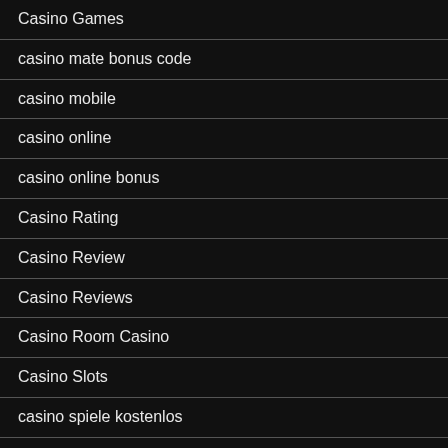Casino Games
casino mate bonus code
casino mobile
casino online
casino online bonus
Casino Rating
Casino Review
Casino Reviews
Casino Room Casino
Casino Slots
casino spiele kostenlos
casino spiele kostenlos ohne anmeldung
Casino Spielen